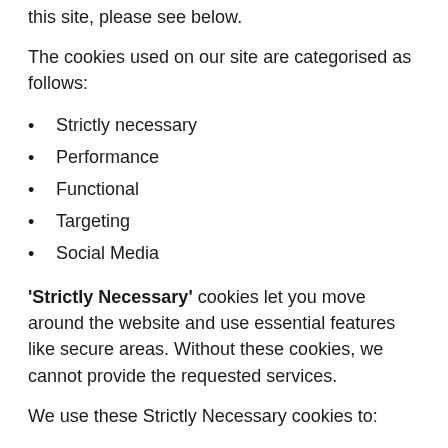this site, please see below.
The cookies used on our site are categorised as follows:
Strictly necessary
Performance
Functional
Targeting
Social Media
'Strictly Necessary' cookies let you move around the website and use essential features like secure areas. Without these cookies, we cannot provide the requested services.
We use these Strictly Necessary cookies to: